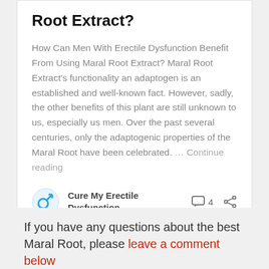Root Extract?
How Can Men With Erectile Dysfunction Benefit From Using Maral Root Extract? Maral Root Extract's functionality an adaptogen is an established and well-known fact. However, sadly, the other benefits of this plant are still unknown to us, especially us men. Over the past several centuries, only the adaptogenic properties of the Maral Root have been celebrated. … Continue reading
Cure My Erectile Dysfunction
4
If you have any questions about the best Maral Root, please leave a comment below